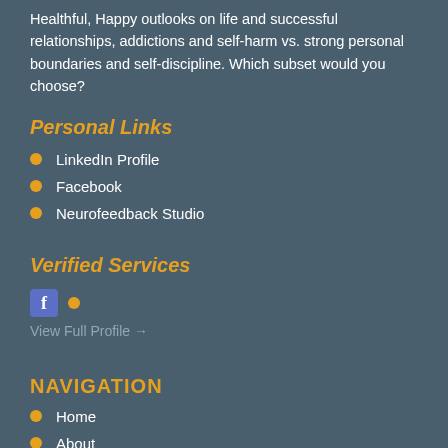Healthful, Happy outlooks on life and successful relationships, addictions and self-harm vs. strong personal boundaries and self-discipline. Which subset would you choose?
Personal Links
LinkedIn Profile
Facebook
Neurofeedback Studio
Verified Services
[Figure (logo): Facebook icon (blue square with white f) followed by an orange dot]
View Full Profile →
NAVIGATION
Home
About
What is Neurofeedback?